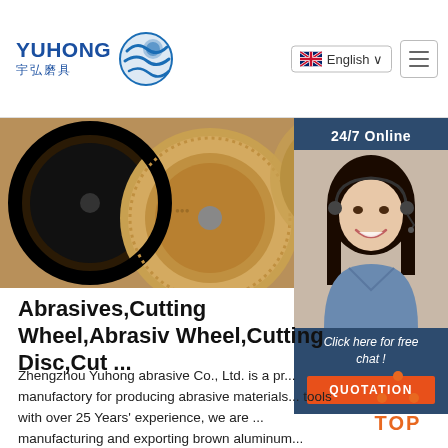YUHONG 宇弘磨具 | English | Menu
[Figure (photo): Close-up photo of abrasive cutting wheels/discs — dark and tan colored circular grinding discs]
[Figure (photo): 24/7 Online chat panel showing a woman wearing a headset, with 'Click here for free chat!' text and a QUOTATION button]
Abrasives,Cutting Wheel,Abrasiv Wheel,Cutting Disc,Cut ...
Zhengzhou Yuhong abrasive Co., Ltd. is a pr... manufactory for producing abrasive materials... tools with over 25 Years' experience, we are ... manufacturing and exporting brown aluminum... aluminum oxide, ...
[Figure (other): Get Price button - dark red/brown rectangular button]
[Figure (other): TOP button - orange dots forming triangle above the word TOP in orange]